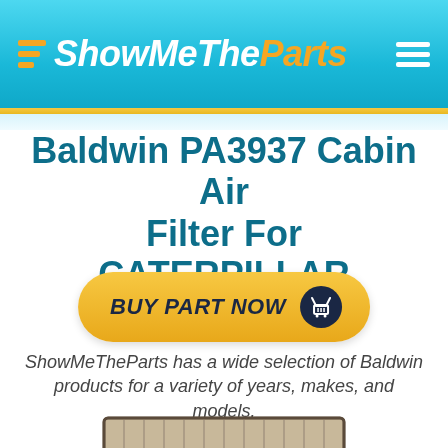ShowMeTheParts
Baldwin PA3937 Cabin Air Filter For CATERPILLAR
[Figure (other): BUY PART NOW button with shopping cart icon]
ShowMeTheParts has a wide selection of Baldwin products for a variety of years, makes, and models.
[Figure (photo): Partially visible cabin air filter product photo at bottom of page]